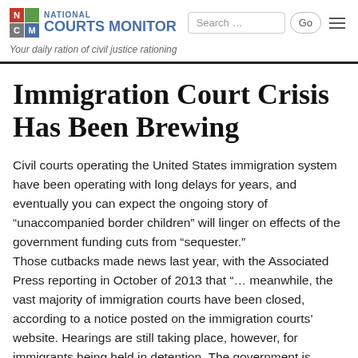NATIONAL COURTS MONITOR — Your daily ration of civil justice rationing
Immigration Court Crisis Has Been Brewing
Civil courts operating the United States immigration system have been operating with long delays for years, and eventually you can expect the ongoing story of “unaccompanied border children” will linger on effects of the government funding cuts from “sequester.”
Those cutbacks made news last year, with the Associated Press reporting in October of 2013 that “… meanwhile, the vast majority of immigration courts have been closed, according to a notice posted on the immigration courts’ website. Hearings are still taking place, however, for immigrants being held in detention. The government is continuing to defend its immigration enforcement actions in court.”